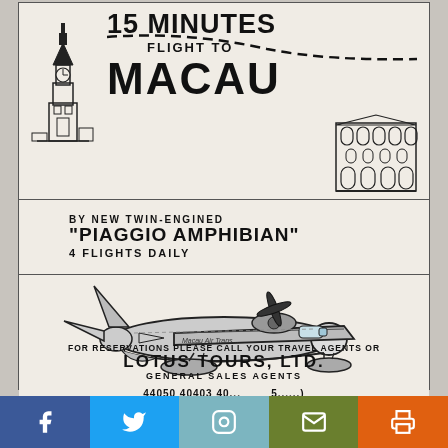[Figure (illustration): Vintage advertisement for Lotus Tours showing a 15-minute flight to Macau by Piaggio Amphibian aircraft. Features a dashed flight path line, illustration of a clock tower building on left, Macau cathedral ruins on right, and a large illustration of the twin-engined Piaggio Amphibian seaplane in the center.]
15 MINUTES FLIGHT TO MACAU
BY NEW TWIN-ENGINED "PIAGGIO AMPHIBIAN" 4 FLIGHTS DAILY
FOR RESERVATIONS PLEASE CALL YOUR TRAVEL AGENTS OR LOTUS TOURS, LTD. GENERAL SALES AGENTS
44050 40403 40...
[Figure (illustration): Social media sharing bar with Facebook, Twitter, Instagram, email, and print icons]